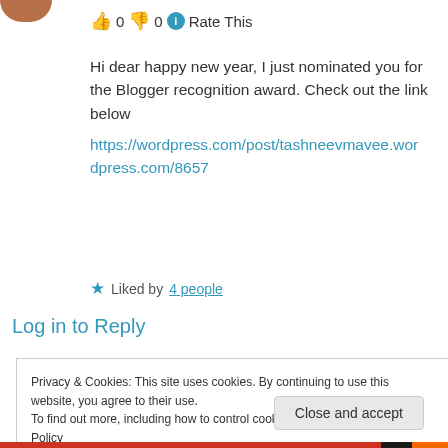[Figure (photo): Partial avatar photo of a person, cropped at top]
👍 0 👎 0 ℹ Rate This
Hi dear happy new year, I just nominated you for the Blogger recognition award. Check out the link below
https://wordpress.com/post/tashneevmavee.wordpress.com/8657
★ Liked by 4 people
Log in to Reply
Privacy & Cookies: This site uses cookies. By continuing to use this website, you agree to their use.
To find out more, including how to control cookies, see here: Cookie Policy
Close and accept